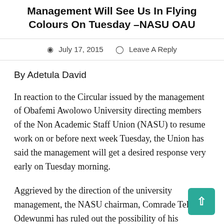Management Will See Us In Flying Colours On Tuesday –NASU OAU
July 17, 2015   Leave A Reply
By Adetula David
In reaction to the Circular issued by the management of Obafemi Awolowo University directing members of the Non Academic Staff Union (NASU) to resume work on or before next week Tuesday, the Union has said the management will get a desired response very early on Tuesday morning.
Aggrieved by the direction of the university management, the NASU chairman, Comrade Tele Odewunmi has ruled out the possibility of his